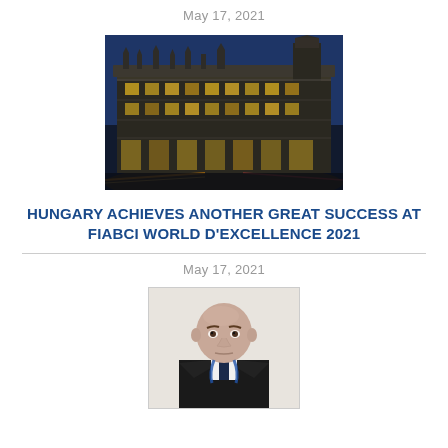May 17, 2021
[Figure (photo): Nighttime photo of a grand historic European building with ornate facade, illuminated windows, and city street]
HUNGARY ACHIEVES ANOTHER GREAT SUCCESS AT FIABCI WORLD D'EXCELLENCE 2021
May 17, 2021
[Figure (photo): Portrait photo of a man in a dark suit with a blue lanyard/medal, stern expression, bald head]